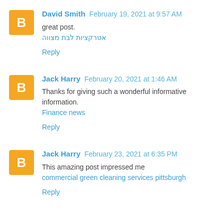David Smith February 19, 2021 at 9:57 AM
great post.
אטרקציות לבת מצווה
Reply
Jack Harry February 20, 2021 at 1:46 AM
Thanks for giving such a wonderful informative information.
Finance news
Reply
Jack Harry February 23, 2021 at 6:35 PM
This amazing post impressed me
commercial green cleaning services pittsburgh
Reply